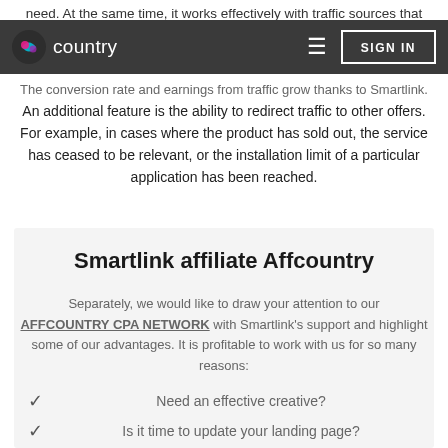need. At the same time, it works effectively with traffic sources that do not have targeting settings.
affcountry | SIGN IN
The conversion rate and earnings from traffic grow thanks to Smartlink.
An additional feature is the ability to redirect traffic to other offers. For example, in cases where the product has sold out, the service has ceased to be relevant, or the installation limit of a particular application has been reached.
Smartlink affiliate Affcountry
Separately, we would like to draw your attention to our AFFCOUNTRY CPA NETWORK with Smartlink's support and highlight some of our advantages. It is profitable to work with us for so many reasons:
Need an effective creative?
Is it time to update your landing page?